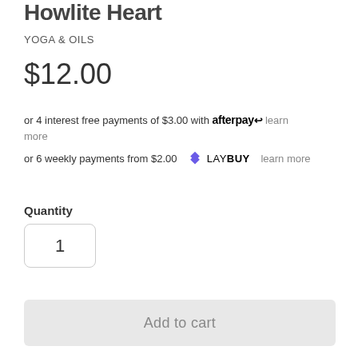Howlite Heart
YOGA & OILS
$12.00
or 4 interest free payments of $3.00 with afterpay learn more
or 6 weekly payments from $2.00 LAY BUY learn more
Quantity
1
Add to cart